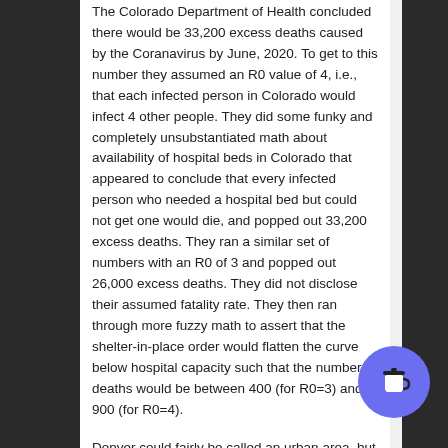The Colorado Department of Health concluded there would be 33,200 excess deaths caused by the Coranavirus by June, 2020. To get to this number they assumed an R0 value of 4, i.e., that each infected person in Colorado would infect 4 other people. They did some funky and completely unsubstantiated math about availability of hospital beds in Colorado that appeared to conclude that every infected person who needed a hospital bed but could not get one would die, and popped out 33,200 excess deaths. They ran a similar set of numbers with an R0 of 3 and popped out 26,000 excess deaths. They did not disclose their assumed fatality rate. They then ran through more fuzzy math to assert that the shelter-in-place order would flatten the curve below hospital capacity such that the number of deaths would be between 400 (for R0=3) and 900 (for R0=4).
Denver could fairly be called an urban area, but outside the city proper the rest of the front range would be considered suburban, exurban, or rural.